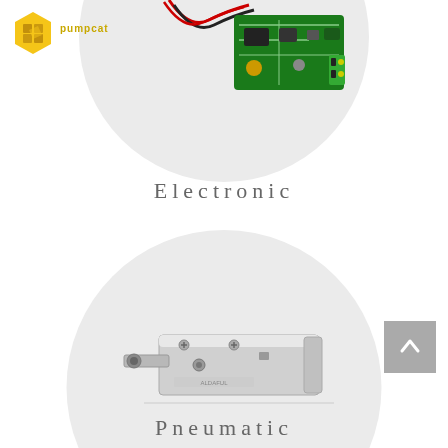[Figure (logo): Yellow hexagonal logo with stylized interlocking shapes, company name partially visible to the right]
[Figure (photo): Electronic PCB circuit board with red and black wires, shown inside a circular light gray background area at the top of the page]
Electronic
[Figure (photo): Pneumatic metal actuator/cylinder device, silver metallic, shown inside a circular light gray background in the lower half of the page]
Pneumatic
[Figure (other): Gray square back-to-top button with upward-pointing chevron arrow, positioned lower right]